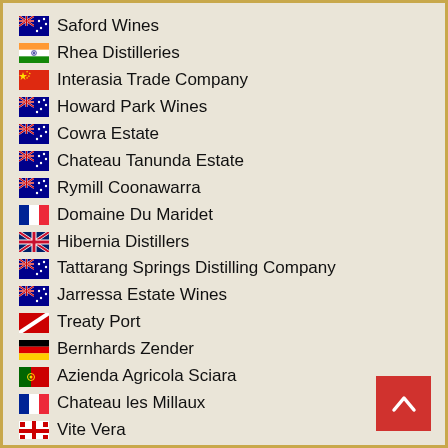Saford Wines
Rhea Distilleries
Interasia Trade Company
Howard Park Wines
Cowra Estate
Chateau Tanunda Estate
Rymill Coonawarra
Domaine Du Maridet
Hibernia Distillers
Tattarang Springs Distilling Company
Jarressa Estate Wines
Treaty Port
Bernhards Zender
Azienda Agricola Sciara
Chateau les Millaux
Vite Vera
Pirathon
Red Deer Station
Saford Wines
Rhea Distilleries